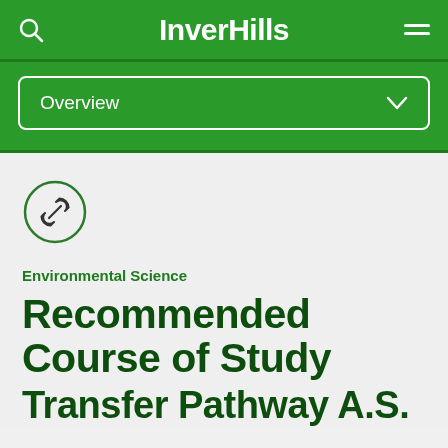InverHills
[Figure (other): Navigation dropdown with Overview label and chevron]
[Figure (other): Link/chain icon inside a circle outline]
Environmental Science
Recommended Course of Study Transfer Pathway A.S.